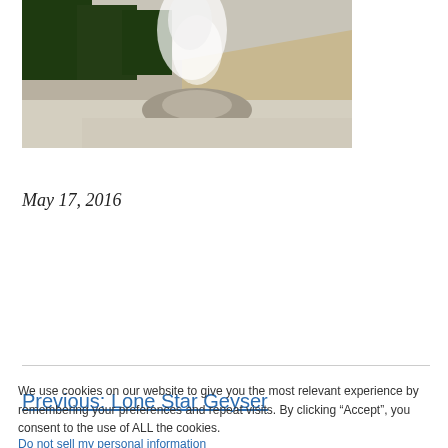[Figure (photo): Outdoor landscape photo showing a geyser or steam vent with trees in the background and rocky terrain, taken at Yellowstone or similar national park setting]
May 17, 2016
Previous: Lone Star Geyser
We use cookies on our website to give you the most relevant experience by remembering your preferences and repeat visits. By clicking “Accept”, you consent to the use of ALL the cookies.
Do not sell my personal information